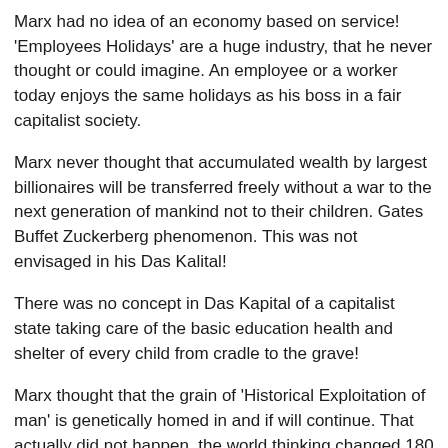Marx had no idea of an economy based on service! 'Employees Holidays' are a huge industry, that he never thought or could imagine. An employee or a worker today enjoys the same holidays as his boss in a fair capitalist society.
Marx never thought that accumulated wealth by largest billionaires will be transferred freely without a war to the next generation of mankind not to their children. Gates Buffet Zuckerberg phenomenon. This was not envisaged in his Das Kalital!
There was no concept in Das Kapital of a capitalist state taking care of the basic education health and shelter of every child from cradle to the grave!
Marx thought that the grain of 'Historical Exploitation of man' is genetically homed in and if will continue. That actually did not happen, the world thinking changed 180 degree.